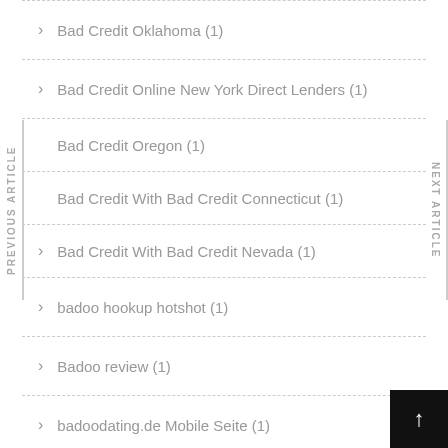Bad Credit Oklahoma (1)
Bad Credit Online New York Direct Lenders (1)
Bad Credit Oregon (1)
Bad Credit With Bad Credit Connecticut (1)
Bad Credit With Bad Credit Nevada (1)
badoo hookup hotshot (1)
Badoo review (1)
badoodating.de Mobile Seite (1)